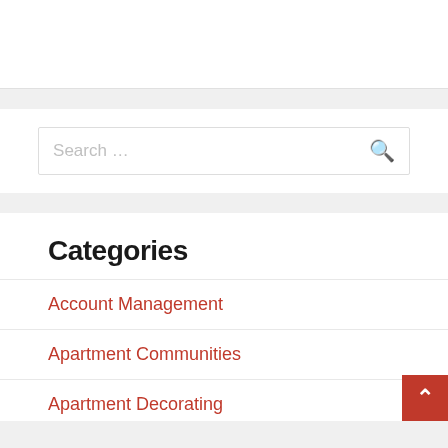[Figure (screenshot): White box area at the top of the page, partial content from another section]
[Figure (screenshot): Search box with placeholder text 'Search ...' and a search magnifying glass icon button]
Categories
Account Management
Apartment Communities
Apartment Decorating